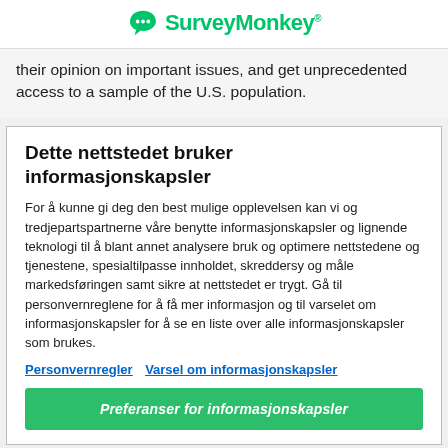SurveyMonkey
their opinion on important issues, and get unprecedented access to a sample of the U.S. population.
Dette nettstedet bruker informasjonskapsler
For å kunne gi deg den best mulige opplevelsen kan vi og tredjepartspartnerne våre benytte informasjonskapsler og lignende teknologi til å blant annet analysere bruk og optimere nettstedene og tjenestene, spesialtilpasse innholdet, skreddersy og måle markedsføringen samt sikre at nettstedet er trygt. Gå til personvernreglene for å få mer informasjon og til varselet om informasjonskapsler for å se en liste over alle informasjonskapsler som brukes.
Personvernregler   Varsel om informasjonskapsler
Preferanser for informasjonskapsler